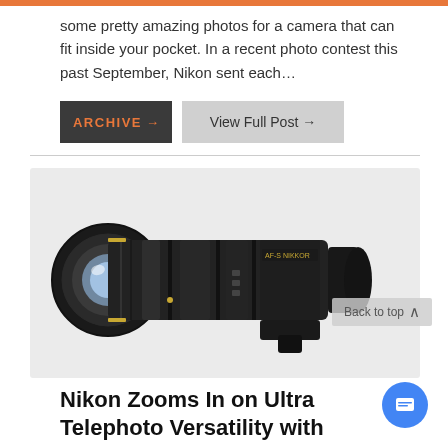some pretty amazing photos for a camera that can fit inside your pocket. In a recent photo contest this past September, Nikon sent each…
ARCHIVE →
View Full Post →
[Figure (photo): A large Nikon telephoto zoom lens, black with gold accents, displayed horizontally on a light gray background. The lens appears to be a 70-200mm type telephoto zoom.]
Back to top ∧
Nikon Zooms In on Ultra Telephoto Versatility with